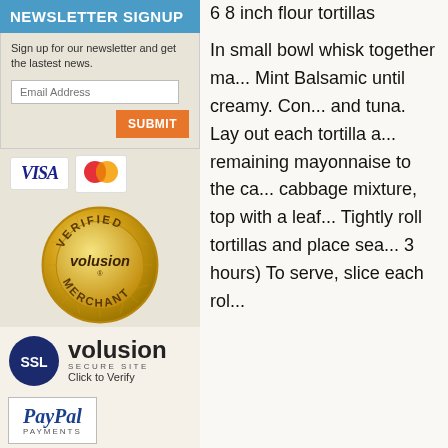NEWSLETTER SIGNUP
Sign up for our newsletter and get the lastest news.
Email Address
[Figure (other): VISA and Mastercard payment icons, Volusion Verified Merchant gold seal badge]
[Figure (other): SSL badge circle with 'SSL' text, Volusion Secure Site logo with 'Click to Verify' text]
[Figure (other): PayPal Payments badge in a bordered box]
Join our mailing list!
6 8 inch flour tortillas
In small bowl whisk together ma... Mint Balsamic until creamy. Con... and tuna. Lay out each tortilla a... remaining mayonnaise to the ca... cabbage mixture, top with a leaf... Tightly roll tortillas and place sea... 3 hours) To serve, slice each rol...